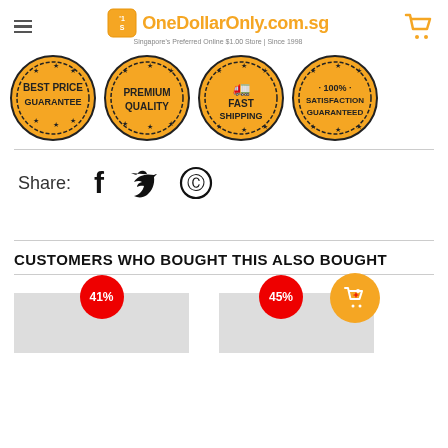OneDollarOnly.com.sg — Singapore's Preferred Online $1.00 Store | Since 1998
[Figure (logo): Four badge icons: Best Price Guarantee, Premium Quality, Fast Shipping, 100% Satisfaction Guaranteed — gold/black circular badge style]
Share:
[Figure (infographic): Social share icons: Facebook, Twitter, Pinterest]
CUSTOMERS WHO BOUGHT THIS ALSO BOUGHT
[Figure (infographic): Two product thumbnails with red discount badge pills showing 41% and 45%, and a gold cart icon badge]